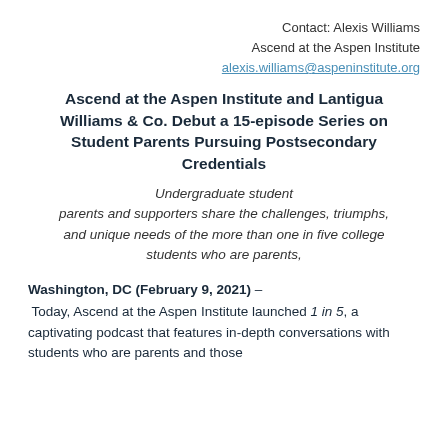Contact: Alexis Williams
Ascend at the Aspen Institute
alexis.williams@aspeninstitute.org
Ascend at the Aspen Institute and Lantigua Williams & Co. Debut a 15-episode Series on Student Parents Pursuing Postsecondary Credentials
Undergraduate student parents and supporters share the challenges, triumphs, and unique needs of the more than one in five college students who are parents,
Washington, DC (February 9, 2021) – Today, Ascend at the Aspen Institute launched 1 in 5, a captivating podcast that features in-depth conversations with students who are parents and those